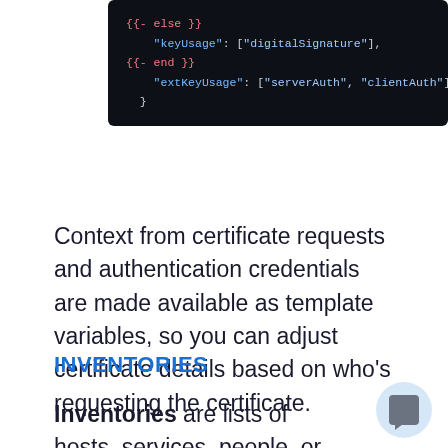[Figure (screenshot): Dark-themed code block showing template logic with {{- else }}, keyUsage: ["digitalSignature"], {{- end }}, extKeyUsage: ["serverAuth", "clientAuth"]]
Context from certificate requests and authentication credentials are made available as template variables, so you can adjust certificate details based on who's requesting the certificate.
INVENTORIES
Inventories are lists of hosts, services, people, or any other endpoint. An inventory record lets you associate